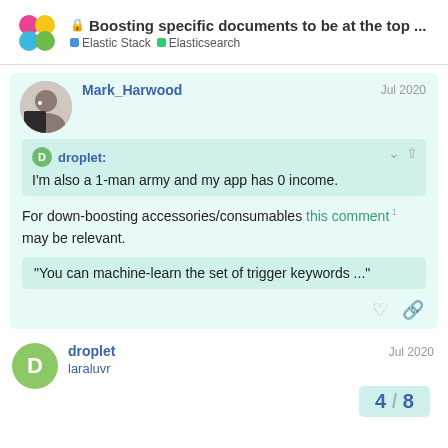🔒 Boosting specific documents to be at the top ... | Elastic Stack | Elasticsearch
Mark_Harwood · Jul 2020
droplet: I'm also a 1-man army and my app has 0 income.
For down-boosting accessories/consumables this comment 1 may be relevant.
"You can machine-learn the set of trigger keywords ..."
droplet laraluvr · Jul 2020
4 / 8